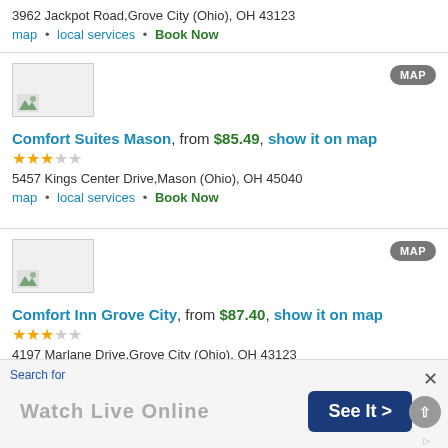3962 Jackpot Road,Grove City (Ohio), OH 43123
map · local services · Book Now
[Figure (screenshot): Hotel image placeholder with broken image icon]
Comfort Suites Mason, from $85.49, show it on map
3 stars out of 5
5457 Kings Center Drive,Mason (Ohio), OH 45040
map · local services · Book Now
[Figure (screenshot): Hotel image placeholder with broken image icon]
Comfort Inn Grove City, from $87.40, show it on map
3 stars out of 5
4197 Marlane Drive,Grove City (Ohio), OH 43123
Search for
Watch Live Online
See It >